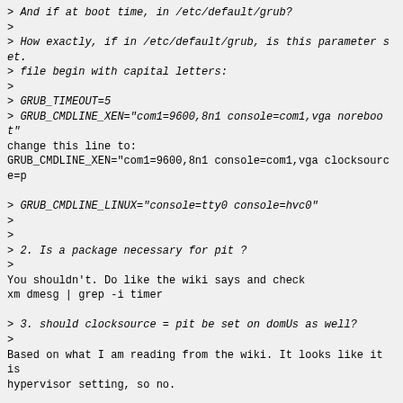> And if at boot time, in /etc/default/grub?
>
> How exactly, if in /etc/default/grub, is this parameter set. file begin with capital letters:
>
> GRUB_TIMEOUT=5
> GRUB_CMDLINE_XEN="com1=9600,8n1 console=com1,vga noreboot"
change this line to:
GRUB_CMDLINE_XEN="com1=9600,8n1 console=com1,vga clocksource=p

> GRUB_CMDLINE_LINUX="console=tty0 console=hvc0"
>
>
> 2. Is a package necessary for pit ?
>
You shouldn't. Do like the wiki says and check
xm dmesg | grep -i timer

> 3. should clocksource = pit be set on domUs as well?
>
Based on what I am reading from the wiki. It looks like it is hypervisor setting, so no.

Hope that helps.